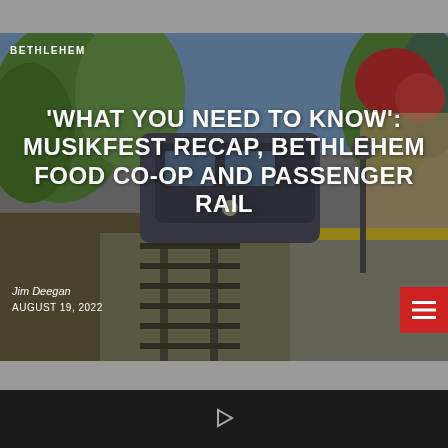[Figure (photo): A passenger train at a station platform with trees and red flowering plants in the background. Yellow caution strips on the platform edge visible.]
BETHLEHEM
'WHAT YOU NEED TO KNOW': MUSIKFEST RECAP, BETHLEHEM FOOD CO-OP AND PASSENGER RAIL
Jim Deegan
AUGUST 19, 2022